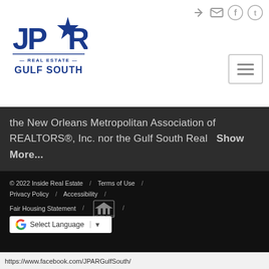[Figure (logo): JPAR Real Estate Gulf South logo with star icon]
the New Orleans Metropolitan Association of REALTORS®, Inc. nor the Gulf South Real   Show More...
© 2022 Inside Real Estate  /  Terms of Use  /  Privacy Policy  /  Accessibility  /  Fair Housing Statement  /  [Equal Housing Opportunity logo]  /  [Select Language dropdown]
https://www.facebook.com/JPARGulfSouth/